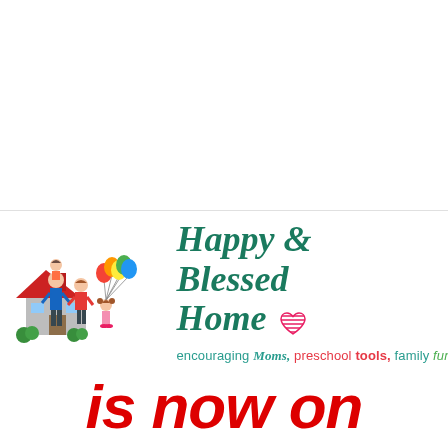[Figure (logo): Happy & Blessed Home logo with cartoon family illustration (father, mother, child with balloons) in front of a red house, alongside the text 'Happy & Blessed Home' in dark teal italic script with a pink heart, and tagline 'encouraging Moms, preschool tools, family fun']
is now on